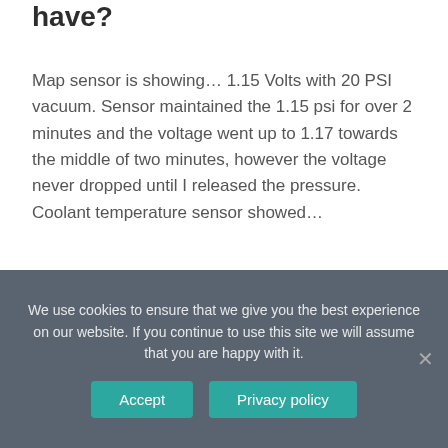have?
Map sensor is showing… 1.15 Volts with 20 PSI vacuum. Sensor maintained the 1.15 psi for over 2 minutes and the voltage went up to 1.17 towards the middle of two minutes, however the voltage never dropped until I released the pressure. Coolant temperature sensor showed…
What to do if your Chevy 1500 won't start?
We use cookies to ensure that we give you the best experience on our website. If you continue to use this site we will assume that you are happy with it.